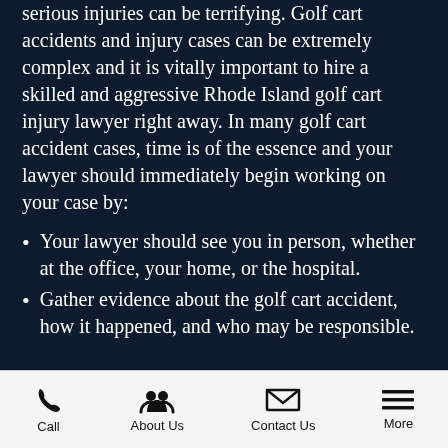serious injuries can be terrifying. Golf cart accidents and injury cases can be extremely complex and it is vitally important to hire a skilled and aggressive Rhode Island golf cart injury lawyer right away. In many golf cart accident cases, time is of the essence and your lawyer should immediately begin working on your case by:
Your lawyer should see you in person, whether at the office, your home, or the hospital.
Gather evidence about the golf cart accident, how it happened, and who may be responsible.
Call | About Us | Contact Us | More